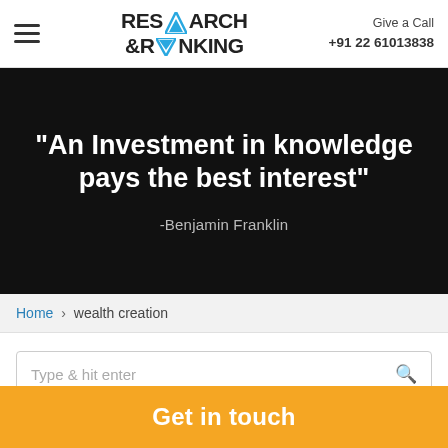RESEARCH & RANKING | Give a Call +91 22 61013838
[Figure (screenshot): Dark hero banner with white bold text quote: 'An Investment in knowledge pays the best interest' attributed to -Benjamin Franklin]
Home › wealth creation
Type & hit enter
Get in touch